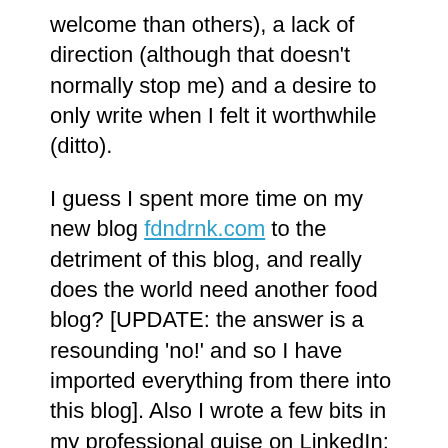welcome than others), a lack of direction (although that doesn't normally stop me) and a desire to only write when I felt it worthwhile (ditto).

I guess I spent more time on my new blog fdndrnk.com to the detriment of this blog, and really does the world need another food blog? [UPDATE: the answer is a resounding 'no!' and so I have imported everything from there into this blog]. Also I wrote a few bits in my professional guise on LinkedIn: What can Star Wars teach us about internal communications?, 9 things I learned from recording a voice-over and 11 tips for checking what you've written (this last one regular